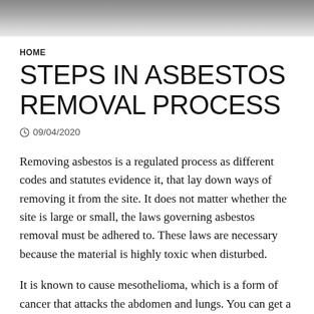[Figure (photo): Partial photo strip at the top of the page, appearing to show a light-colored fabric or textile background.]
HOME
STEPS IN ASBESTOS REMOVAL PROCESS
09/04/2020
Removing asbestos is a regulated process as different codes and statutes evidence it, that lay down ways of removing it from the site. It does not matter whether the site is large or small, the laws governing asbestos removal must be adhered to. These laws are necessary because the material is highly toxic when disturbed.
It is known to cause mesothelioma, which is a form of cancer that attacks the abdomen and lungs. You can get a free quote on asbestos removal. As you know, roofs pose dangers both to